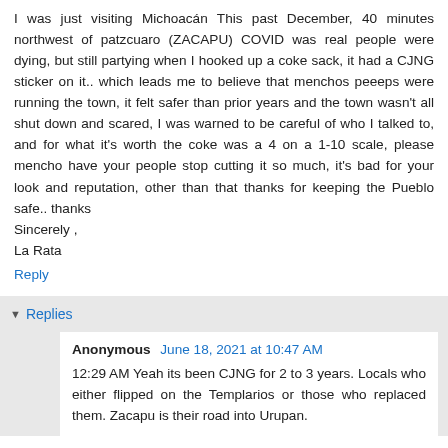I was just visiting Michoacán This past December, 40 minutes northwest of patzcuaro (ZACAPU) COVID was real people were dying, but still partying when I hooked up a coke sack, it had a CJNG sticker on it.. which leads me to believe that menchos peeeps were running the town, it felt safer than prior years and the town wasn't all shut down and scared, I was warned to be careful of who I talked to, and for what it's worth the coke was a 4 on a 1-10 scale, please mencho have your people stop cutting it so much, it's bad for your look and reputation, other than that thanks for keeping the Pueblo safe.. thanks
Sincerely ,
La Rata
Reply
Replies
Anonymous June 18, 2021 at 10:47 AM
12:29 AM Yeah its been CJNG for 2 to 3 years. Locals who either flipped on the Templarios or those who replaced them. Zacapu is their road into Urupan.